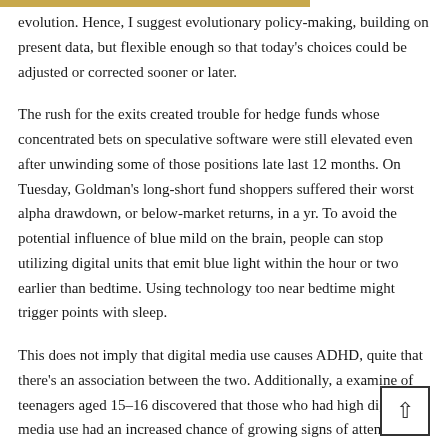evolution. Hence, I suggest evolutionary policy-making, building on present data, but flexible enough so that today's choices could be adjusted or corrected sooner or later.
The rush for the exits created trouble for hedge funds whose concentrated bets on speculative software were still elevated even after unwinding some of those positions late last 12 months. On Tuesday, Goldman's long-short fund shoppers suffered their worst alpha drawdown, or below-market returns, in a yr. To avoid the potential influence of blue mild on the brain, people can stop utilizing digital units that emit blue light within the hour or two earlier than bedtime. Using technology too near bedtime might trigger points with sleep.
This does not imply that digital media use causes ADHD, quite that there's an association between the two. Additionally, a examine of teenagers aged 15–16 discovered that those who had high digital media use had an increased chance of growing signs of attention-deficit hyperactivity